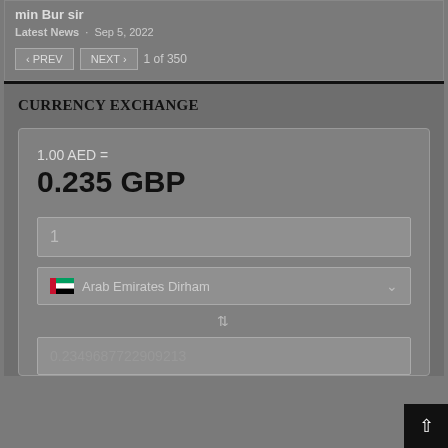min Bur sir
Latest News · Sep 5, 2022
< PREV   NEXT >   1 of 350
CURRENCY EXCHANGE
1.00 AED =
0.235 GBP
1
Arab Emirates Dirham
0.2349687722909213